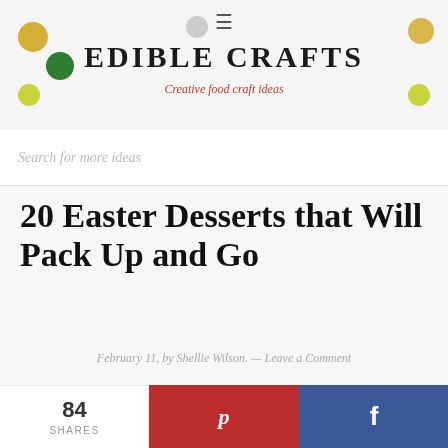EDIBLE CRAFTS — Creative food craft ideas
Search for more ideas
20 Easter Desserts that Will Pack Up and Go
February 11, by Shellie Wilson. — Leave a Comment
[Figure (photo): Two photos of Easter desserts side by side]
84 SHARES